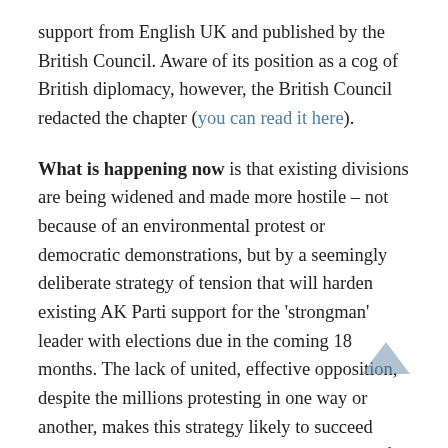support from English UK and published by the British Council. Aware of its position as a cog of British diplomacy, however, the British Council redacted the chapter (you can read it here).
What is happening now is that existing divisions are being widened and made more hostile – not because of an environmental protest or democratic demonstrations, but by a seemingly deliberate strategy of tension that will harden existing AK Parti support for the 'strongman' leader with elections due in the coming 18 months. The lack of united, effective opposition, despite the millions protesting in one way or another, makes this strategy likely to succeed unless opposition leadership can harness peaceful protest. A similar 'strategy of tension' was allegedly used in the 1970's and 1980's by right-wing groups to shut down communist and then islamist opposition. Erdogan himself was imprisoned for 'inciting hatred based on religious differences', and the AK Parti narrowly avoided being closed